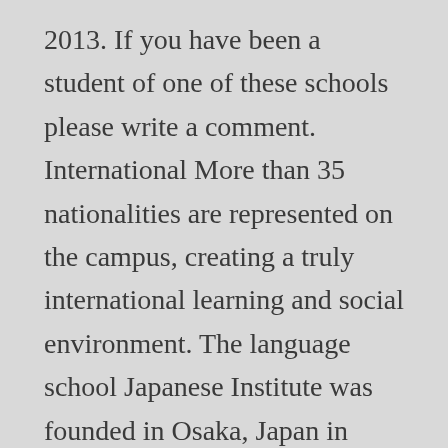2013. If you have been a student of one of these schools please write a comment. International More than 35 nationalities are represented on the campus, creating a truly international learning and social environment. The language school Japanese Institute was founded in Osaka, Japan in 2009. We offer Japanese language courses to Indian students and businessmen. Advice. Classes are extremely small, with a maximum of 8 students, and extremely flexible, with courses starting every Monday throughout the year. Here is a list of Japanese language schools in Osaka in alphabetical order. Its means of expression diversify every minute, evolving